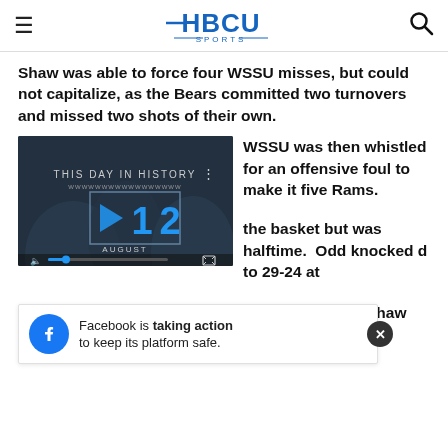HBCU SPORTS
Shaw was able to force four WSSU misses, but could not capitalize, as the Bears committed two turnovers and missed two shots of their own.
WSSU was then whistled for an offensive foul to make it five Rams.
[Figure (screenshot): Video player showing 'This Day in History' with date 12 August, with play button, mute and fullscreen controls.]
the basket but was halftime.  Odd knocked d to 29-24 at
The WSSU halftime lead quickly evaporated as Shaw came out of the basket but was The Bears were able to p
Facebook is taking action to keep its platform safe.